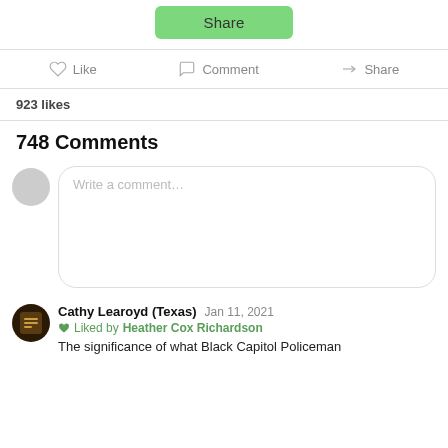[Figure (screenshot): Green Share button]
Like   Comment   Share
923 likes
748 Comments
Write a comment…
Cathy Learoyd (Texas)   Jan 11, 2021
Liked by Heather Cox Richardson
The significance of what Black Capitol Policeman